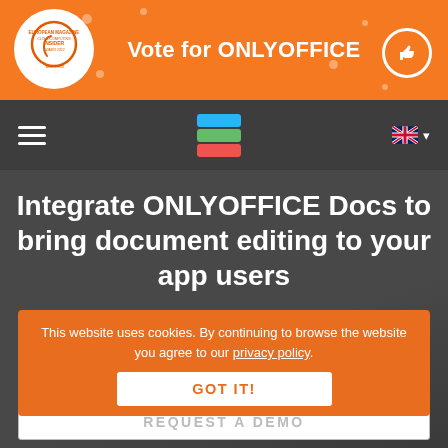[Figure (screenshot): Cloud Computing Insider Award 2022 logo in white circle on orange banner]
Vote for ONLYOFFICE
[Figure (logo): ONLYOFFICE stacked layers logo (blue, green, red)]
[Figure (illustration): UK flag with dropdown arrow]
Integrate ONLYOFFICE Docs to bring document editing to your app users
Maximum compatibility with MS Office formats
This website uses cookies. By continuing to browse the website you agree to our privacy policy.
GOT IT!
REQUEST A DEMO